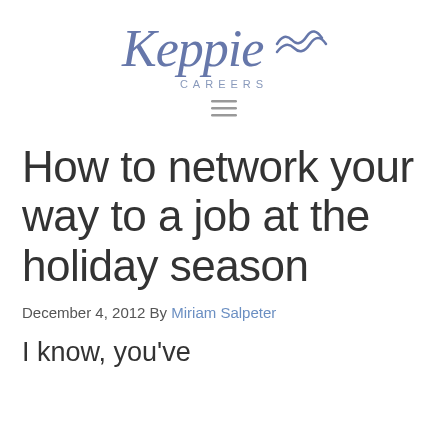[Figure (logo): Keppie Careers logo with stylized script 'Keppie' and wave marks, with 'CAREERS' in spaced caps below]
≡ (hamburger menu icon)
How to network your way to a job at the holiday season
December 4, 2012 By Miriam Salpeter
I know, you've